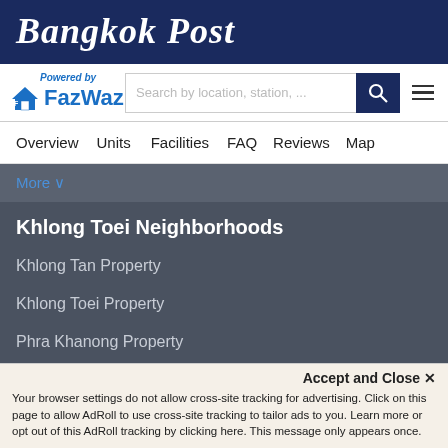Bangkok Post
[Figure (logo): FazWaz logo with house icon and 'Powered by' text above]
Search by location, station, ...
Overview  Units  Facilities  FAQ  Reviews  Map
More ∨
Khlong Toei Neighborhoods
Khlong Tan Property
Khlong Toei Property
Phra Khanong Property
Khlong Tan Rentals
Khlong Toei Rentals
Accept and Close ✕
Your browser settings do not allow cross-site tracking for advertising. Click on this page to allow AdRoll to use cross-site tracking to tailor ads to you. Learn more or opt out of this AdRoll tracking by clicking here. This message only appears once.